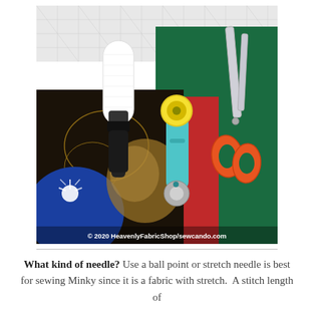[Figure (photo): Photo of sewing tools including a lint roller, rotary cutter with yellow/teal handle, and orange-handled scissors laid on top of quilted fabric pieces (green, red, and a decorative panel). A white cutting mat is visible in the background. Watermark reads: © 2020 HeavenlyFabricShop/sewcando.com]
What kind of needle? Use a ball point or stretch needle is best for sewing Minky since it is a fabric with stretch.  A stitch length of